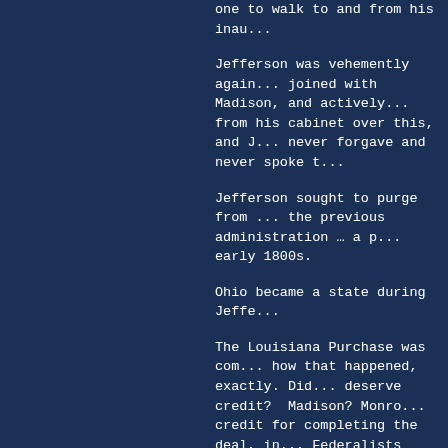one to walk to and from his inau...
Jefferson was vehemently again... joined with Madison, and actively... from his cabinet over this, and J... never forgave and never spoke t...
Jefferson sought to purge from ... the previous administration … a p... early 1800s.
Ohio became a state during Jeffe...
The Louisiana Purchase was com... how that happened, exactly. Did... deserve credit?  Madison? Monro... credit for completing the deal, in... Federalists criticized him for).
Historians have long disagreed a... believe he was the father of one... true that in 1807, he signed a law...
Jefferson believed that all (white... same.  His home was open to all... the Presidential Mansion … weari... Jeffe...